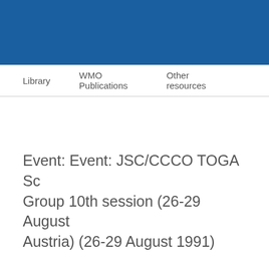Library    WMO Publications    Other resources
Event: Event: JSC/CCCO TOGA Sc... Group 10th session (26-29 August ... Austria) (26-29 August 1991)